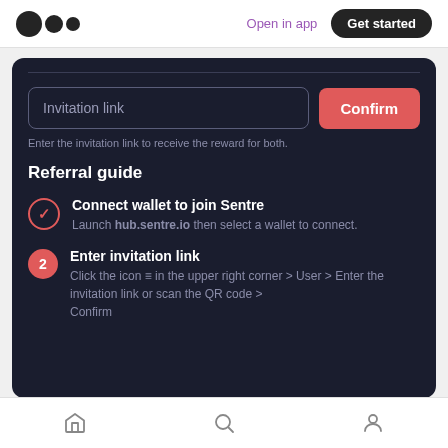Open in app | Get started
Invitation link | Confirm
Enter the invitation link to receive the reward for both.
Referral guide
Connect wallet to join Sentre — Launch hub.sentre.io then select a wallet to connect.
2 Enter invitation link — Click the icon ≡ in the upper right corner > User > Enter the invitation link or scan the QR code > Confirm